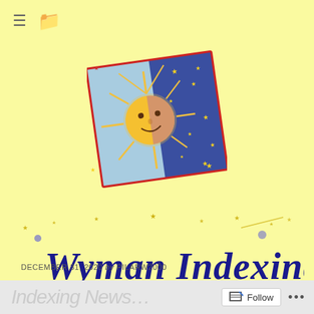≡ 📁
[Figure (illustration): Sun and moon illustration with blue starry background, yellow sun with a face, watercolor/sketch style, in a roughly square format with red border lines]
[Figure (logo): Wyman Indexing calligraphic title in dark navy/blue italic script font, surrounded by small decorative gold stars and celestial motifs on yellow background]
DECEMBER 31, 2020 by PILARW2000
Indexing News… Follow …